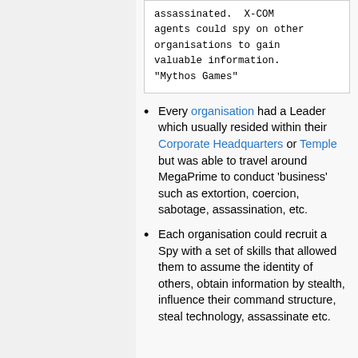assassinated. X-COM agents could spy on other organisations to gain valuable information. "Mythos Games"
Every organisation had a Leader which usually resided within their Corporate Headquarters or Temple but was able to travel around MegaPrime to conduct 'business' such as extortion, coercion, sabotage, assassination, etc.
Each organisation could recruit a Spy with a set of skills that allowed them to assume the identity of others, obtain information by stealth, influence their command structure, steal technology, assassinate etc.